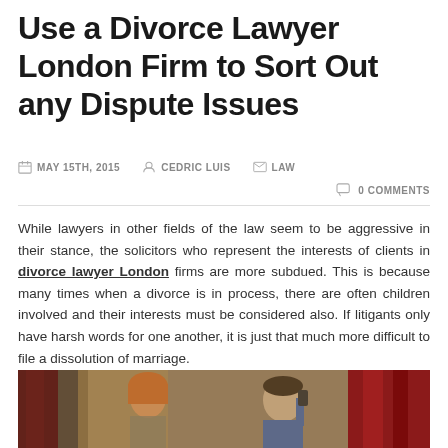Use a Divorce Lawyer London Firm to Sort Out any Dispute Issues
MAY 15TH, 2015   CEDRIC LUIS   LAW
0 COMMENTS
While lawyers in other fields of the law seem to be aggressive in their stance, the solicitors who represent the interests of clients in divorce lawyer London firms are more subdued. This is because many times when a divorce is in process, there are often children involved and their interests must be considered also. If litigants only have harsh words for one another, it is just that much more difficult to file a dissolution of marriage.
[Figure (photo): Photo of a man and woman in dispute, woman with red hair, man in blue shirt, red drapes in background]